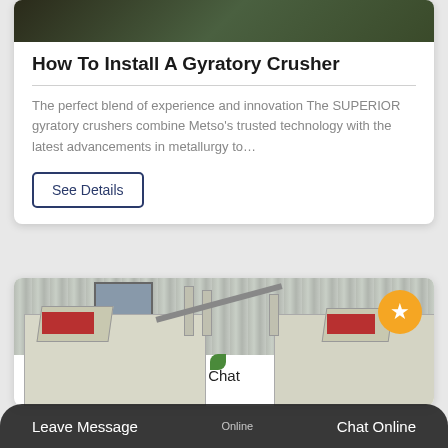[Figure (photo): Top partial view of a gyratory crusher or industrial machinery with dark green/brown background]
How To Install A Gyratory Crusher
The perfect blend of experience and innovation The SUPERIOR gyratory crushers combine Metso's trusted technology with the latest advancements in metallurgy to…
See Details
[Figure (photo): Industrial impact crushers parked in front of a corrugated metal building. Two large grey/cream colored crushing machines visible.]
Chat
Leave Message   Chat Online